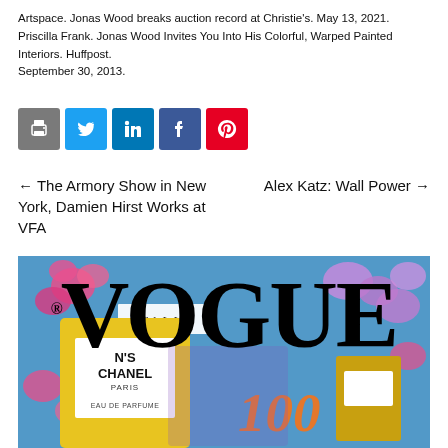Artspace. Jonas Wood breaks auction record at Christie's. May 13, 2021.
Priscilla Frank. Jonas Wood Invites You Into His Colorful, Warped Painted Interiors. Huffpost. September 30, 2013.
[Figure (other): Row of social sharing icon buttons: print (grey), Twitter (blue), LinkedIn (blue), Facebook (dark blue), Pinterest (red)]
← The Armory Show in New York, Damien Hirst Works at VFA
Alex Katz: Wall Power →
[Figure (photo): Painting of Vogue Italia magazine cover with Chanel No. 5 perfume bottles on a bright blue background with pink and purple flowers. VOGUE text in large black letters across the top. Yellow Chanel bottle with 'N's CHANEL PARIS EAU DE PARFUME' label visible.]